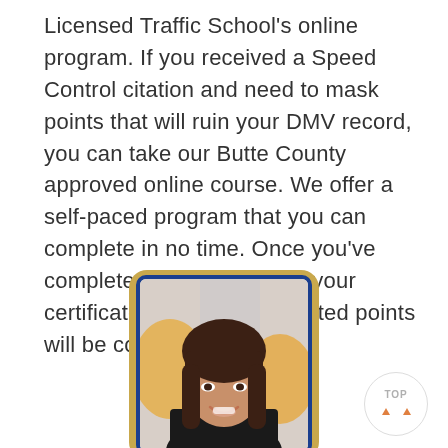Licensed Traffic School's online program. If you received a Speed Control citation and need to mask points that will ruin your DMV record, you can take our Butte County approved online course. We offer a self-paced program that you can complete in no time. Once you've completed it, we'll process your certificate and those unwanted points will be confidential.
[Figure (photo): Portrait photo of a woman with long dark brown hair and bangs, smiling, wearing a dark top, with a blurred colorful background. Photo is framed in a card with a gold/tan outer border and blue inner border.]